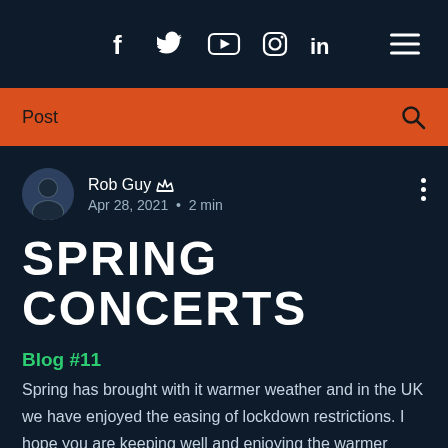Social media icons (Facebook, Twitter, YouTube, Instagram, LinkedIn) and hamburger menu
Post | search icon
Rob Guy · Apr 28, 2021 · 2 min
SPRING CONCERTS
Blog #11
Spring has brought with it warmer weather and in the UK we have enjoyed the easing of lockdown restrictions. I hope you are keeping well and enjoying the warmer weather. I have finally been able to head over the border to see